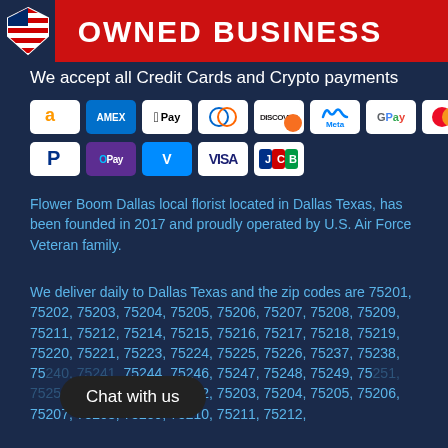[Figure (illustration): Veteran owned business banner with shield logo on left and red background with 'OWNED BUSINESS' text on right]
We accept all Credit Cards and Crypto payments
[Figure (infographic): Payment method icons: Amazon, Amex, Apple Pay, Diners Club, Discover, Meta Pay, Google Pay, Mastercard, PayPal, OPay, Venmo, Visa, JCB]
Flower Boom Dallas local florist located in Dallas Texas, has been founded in 2017 and proudly operated by U.S. Air Force Veteran family.
We deliver daily to Dallas Texas and the zip codes are 75201, 75202, 75203, 75204, 75205, 75206, 75207, 75208, 75209, 75211, 75212, 75214, 75215, 75216, 75217, 75218, 75219, 75220, 75221, 75223, 75224, 75225, 75226, 75237, 75238, 75240, 75241, 75244, 75246, 75247, 75248, 75249, 75251, 75253, 75254, 75287, 75202, 75203, 75204, 75205, 75206, 75207, 75208, 75209, 75210, 75211, 75212,